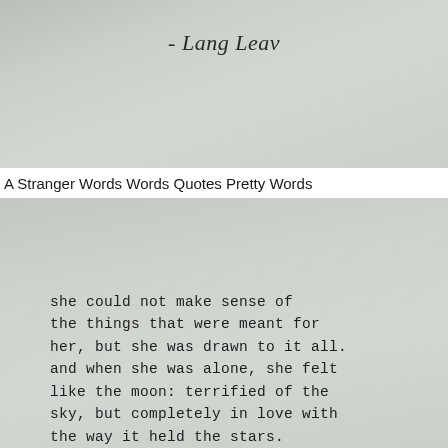[Figure (photo): Scanned page showing attribution text '- Lang Leav' in italic serif font on a grey-toned paper background]
A Stranger Words Words Quotes Pretty Words
[Figure (photo): Scanned typewritten poem on grey textured paper reading: she could not make sense of the things that were meant for her, but she was drawn to it all. and when she was alone, she felt like the moon: terrified of the sky, but completely in love with the way it held the stars.]